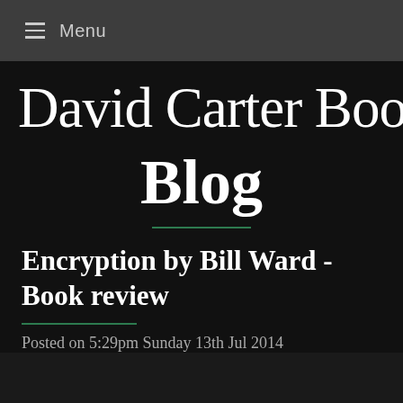≡ Menu
David Carter Boo
Blog
Encryption by Bill Ward - Book review
Posted on 5:29pm Sunday 13th Jul 2014